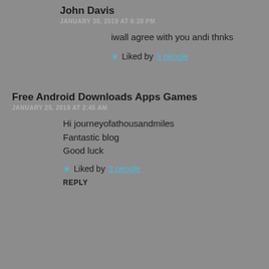John Davis
JANUARY 30, 2019 AT 8:28 PM
iwall agree with you andi thnks
Liked by 3 people
Free Android Downloads Apps Games
JANUARY 25, 2019 AT 2:45 AM
Hi journeyofathousandmiles
Fantastic blog
Good luck
Liked by 3 people
REPLY